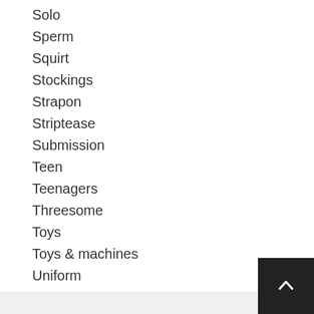Solo
Sperm
Squirt
Stockings
Strapon
Striptease
Submission
Teen
Teenagers
Threesome
Toys
Toys & machines
Uniform
Uniforms
Whipping